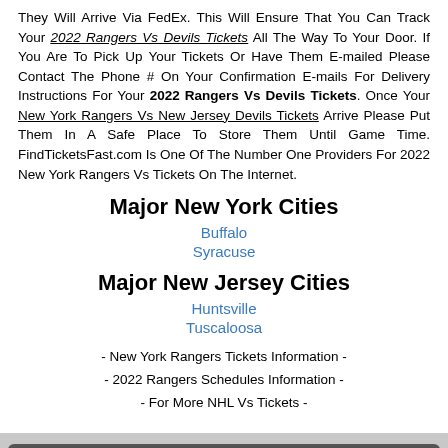They Will Arrive Via FedEx. This Will Ensure That You Can Track Your 2022 Rangers Vs Devils Tickets All The Way To Your Door. If You Are To Pick Up Your Tickets Or Have Them E-mailed Please Contact The Phone # On Your Confirmation E-mails For Delivery Instructions For Your 2022 Rangers Vs Devils Tickets. Once Your New York Rangers Vs New Jersey Devils Tickets Arrive Please Put Them In A Safe Place To Store Them Until Game Time. FindTicketsFast.com Is One Of The Number One Providers For 2022 New York Rangers Vs Tickets On The Internet.
Major New York Cities
Buffalo
Syracuse
Major New Jersey Cities
Huntsville
Tuscaloosa
- New York Rangers Tickets Information -
- 2022 Rangers Schedules Information -
- For More NHL Vs Tickets -
Event & Show Tickets
Pro Sports Tickets